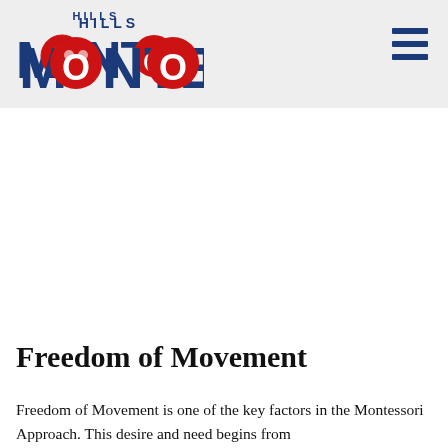HILLS MONTESSORI
[Figure (other): Large white image/video placeholder area below the navigation header]
Freedom of Movement
Freedom of Movement is one of the key factors in the Montessori Approach. This desire and need begins from